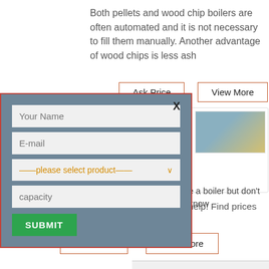Both pellets and wood chip boilers are often automated and it is not necessary to fill them manually. Another advantage of wood chips is less ash
[Figure (screenshot): A modal/popup form overlay on a webpage with fields: Your Name, E-mail, a dropdown (please select product), capacity, and a SUBMIT button. The modal has a dark blue-grey background with a red border and an X close button. Behind it are two orange-bordered buttons labeled 'Ask Price' and 'View More', and a partial image of industrial equipment.]
a boiler but don't know which type you would like? We're here to help! Find prices and suppliers for wood pellet
[Figure (other): Two orange-bordered buttons: 'Ask Price' and 'View More']
[Figure (other): Bottom partial strip/bar]